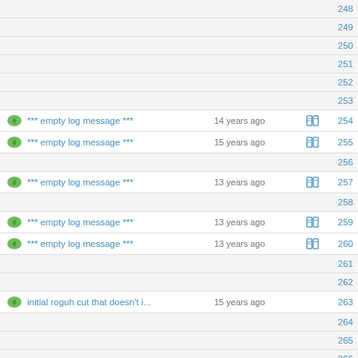248
249
250
251
252
253
*** empty log message *** | 14 years ago | 254
*** empty log message *** | 15 years ago | 255
256
*** empty log message *** | 13 years ago | 257
258
*** empty log message *** | 13 years ago | 259
*** empty log message *** | 13 years ago | 260
261
262
initial roguh cut that doesn't i... | 15 years ago | 263
264
265
266
*** empty log message *** | 13 years ago | 267
rewrite seletc backend, port ag... | 15 years ago | 268